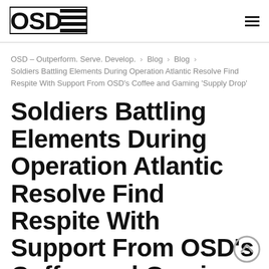[Figure (logo): OSD logo with bold block letters OSD and horizontal lines forming a rectangular badge]
OSD – Outperform. Serve. Develop.  ›  Blog  ›  Blog  ›  Soldiers Battling Elements During Operation Atlantic Resolve Find Respite With Support From OSD’s Coffee and Gaming ‘Supply Drop’
Soldiers Battling Elements During Operation Atlantic Resolve Find Respite With Support From OSD’s Coffee and Gaming ‘Supply Drop’